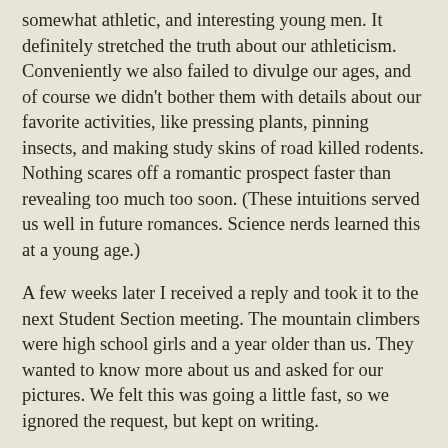somewhat athletic, and interesting young men. It definitely stretched the truth about our athleticism. Conveniently we also failed to divulge our ages, and of course we didn't bother them with details about our favorite activities, like pressing plants, pinning insects, and making study skins of road killed rodents. Nothing scares off a romantic prospect faster than revealing too much too soon. (These intuitions served us well in future romances. Science nerds learned this at a young age.)
A few weeks later I received a reply and took it to the next Student Section meeting. The mountain climbers were high school girls and a year older than us. They wanted to know more about us and asked for our pictures. We felt this was going a little fast, so we ignored the request, but kept on writing.
Our pen pal kept telling us more about her girl friend's problems, divorcing parents, smoking, wanting to drop out, dating older military guys. Clearly, she wanted to escape and grow up fast. Our pen pal was bearing witness with a kind of horrified fascination, but was powerless to help.